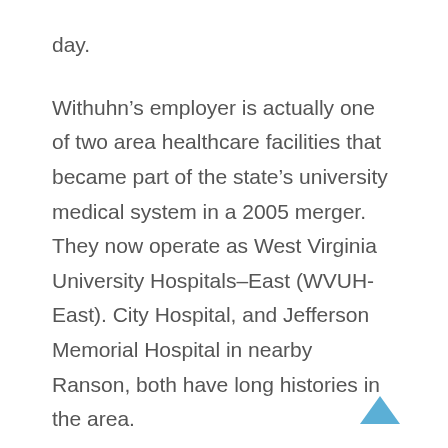day.
Withuhn's employer is actually one of two area healthcare facilities that became part of the state's university medical system in a 2005 merger. They now operate as West Virginia University Hospitals–East (WVUH-East). City Hospital, and Jefferson Memorial Hospital in nearby Ranson, both have long histories in the area.
So far, the affiliation has spurred updates and major expansions in, among others, emergency departments and the ICU, a new cardiac cath lab and new 20-bed IC/coronary care unit. Another significant arrangement gives the two hospitals access to consultation with WVU physicians and new